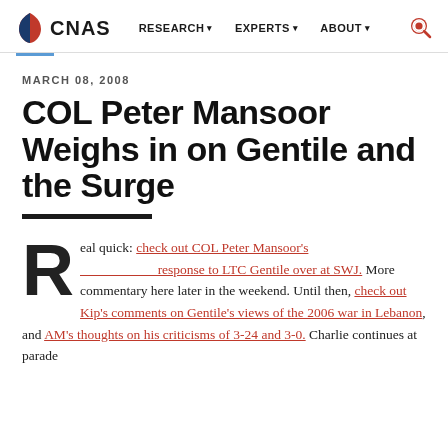CNAS | RESEARCH | EXPERTS | ABOUT
MARCH 08, 2008
COL Peter Mansoor Weighs in on Gentile and the Surge
Real quick: check out COL Peter Mansoor's response to LTC Gentile over at SWJ. More commentary here later in the weekend. Until then, check out Kip's comments on Gentile's views of the 2006 war in Lebanon, and AM's thoughts on his criticisms of 3-24 and 3-0. Charlie continues at parade